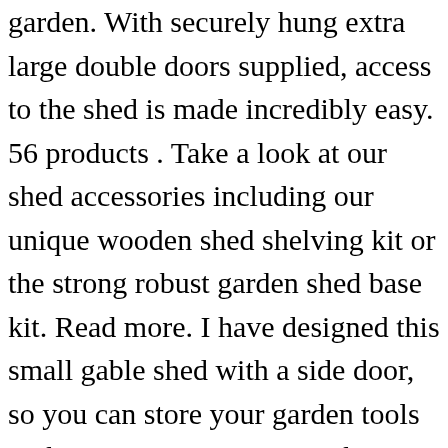garden. With securely hung extra large double doors supplied, access to the shed is made incredibly easy. 56 products . Take a look at our shed accessories including our unique wooden shed shelving kit or the strong robust garden shed base kit. Read more. I have designed this small gable shed with a side door, so you can store your garden tools with a minimum expense. The Overlap Dip Treated 8x6 Reverse Apex Shed from Forest is an excellent storage solution. Sheds are purely practical and have a place in many a garden. Rating 4.602978 out of 5 (2978) £120.00. (Please